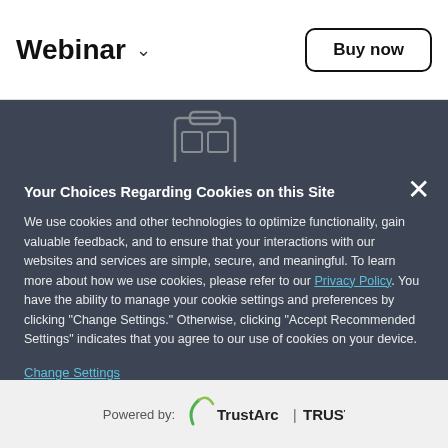Webinar  ˅
Buy now
Your Choices Regarding Cookies on this Site
We use cookies and other technologies to optimize functionality, gain valuable feedback, and to ensure that your interactions with our websites and services are simple, secure, and meaningful. To learn more about how we use cookies, please refer to our Privacy Policy. You have the ability to manage your cookie settings and preferences by clicking "Change Settings." Otherwise, clicking "Accept Recommended Settings" indicates that you agree to our use of cookies on your device.
Change Settings
Accept Recommended Settings
Powered by: TrustArc | TRUSTe